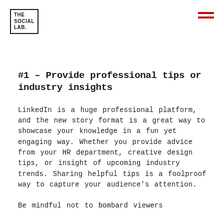[Figure (logo): The Social Lab logo in a bracketed box, top left]
[Figure (other): Hamburger menu icon with two red horizontal lines, top right]
#1 – Provide professional tips or industry insights
LinkedIn is a huge professional platform, and the new story format is a great way to showcase your knowledge in a fun yet engaging way. Whether you provide advice from your HR department, creative design tips, or insight of upcoming industry trends. Sharing helpful tips is a foolproof way to capture your audience's attention.
Be mindful not to bombard viewers